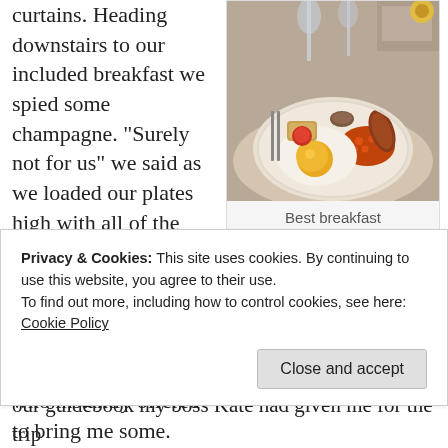curtains. Heading downstairs to our included breakfast we spied some champagne. “Surely not for us” we said as we loaded our plates high with all of the necessary components for a fry up/heart attack. I tentatively asked our waitress about the champagne who instantly offered to bring me some. Best Hotel
[Figure (photo): A plate of full English breakfast with fried egg, baked beans, sausages, toast and other items on a white plate, with champagne glasses visible in background]
Best breakfast
our guidebook my boss Kate had given me for the trip
Privacy & Cookies: This site uses cookies. By continuing to use this website, you agree to their use.
To find out more, including how to control cookies, see here: Cookie Policy
Close and accept